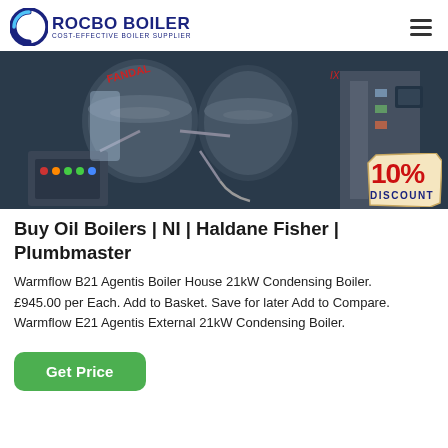ROCBO BOILER — COST-EFFECTIVE BOILER SUPPLIER
[Figure (photo): Industrial boilers/machinery in a workshop or factory setting. A '10% DISCOUNT' badge is overlaid in the bottom right corner of the image.]
Buy Oil Boilers | NI | Haldane Fisher | Plumbmaster
Warmflow B21 Agentis Boiler House 21kW Condensing Boiler. £945.00 per Each. Add to Basket. Save for later Add to Compare. Warmflow E21 Agentis External 21kW Condensing Boiler.
Get Price